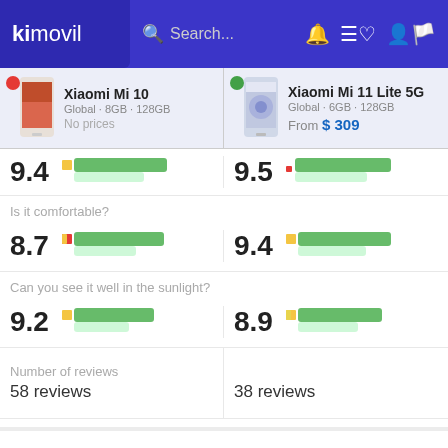kimovil — Search... (navigation bar)
[Figure (screenshot): Product comparison header showing Xiaomi Mi 10 (Global, 8GB, 128GB, No prices) vs Xiaomi Mi 11 Lite 5G (Global, 6GB, 128GB, From $309)]
9.4
9.5
Is it comfortable?
8.7
9.4
Can you see it well in the sunlight?
9.2
8.9
Number of reviews
58 reviews
38 reviews
Performance & Hardware